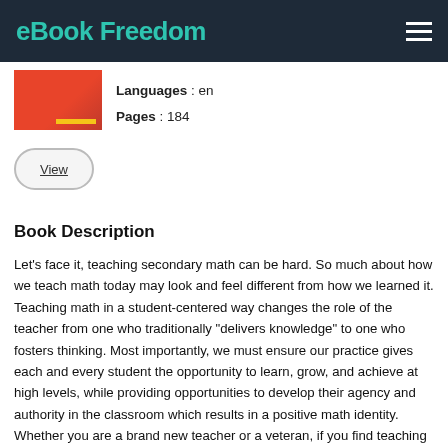eBook Freedom
Languages: en
Pages: 184
View
Book Description
Let's face it, teaching secondary math can be hard. So much about how we teach math today may look and feel different from how we learned it. Teaching math in a student-centered way changes the role of the teacher from one who traditionally "delivers knowledge" to one who fosters thinking. Most importantly, we must ensure our practice gives each and every student the opportunity to learn, grow, and achieve at high levels, while providing opportunities to develop their agency and authority in the classroom which results in a positive math identity. Whether you are a brand new teacher or a veteran, if you find teaching math to be quite the challenge, this is the guide you want by your side. Designed for just-in-time learning and support, this practical resource gives you brief, actionable